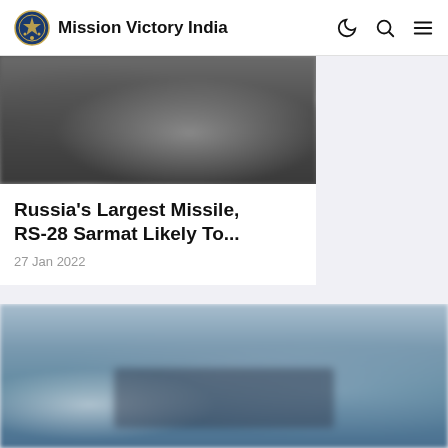Mission Victory India
[Figure (photo): Blurred dark image of a missile or military vehicle, partial top view]
Russia's Largest Missile, RS-28 Sarmat Likely To...
27 Jan 2022
[Figure (photo): Blurred image of a naval warship in blue-grey hazy conditions]